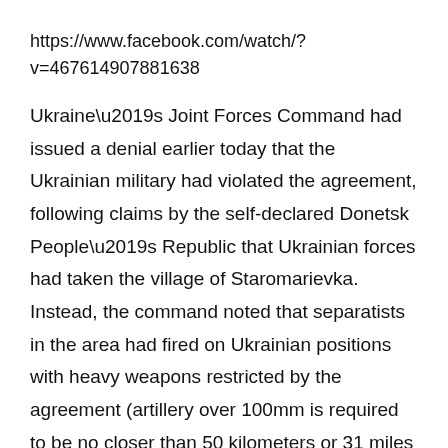https://www.facebook.com/watch/?v=467614907881638
Ukraine’s Joint Forces Command had issued a denial earlier today that the Ukrainian military had violated the agreement, following claims by the self-declared Donetsk People’s Republic that Ukrainian forces had taken the village of Staromarievka. Instead, the command noted that separatists in the area had fired on Ukrainian positions with heavy weapons restricted by the agreement (artillery over 100mm is required to be no closer than 50 kilometers or 31 miles away from frontlines), dismissing the accusations as an attempt to discredit Kyiv.
The Ukrainian military reported several other ceasefire violations by separatist forces that took place on the same day. Heavy machine gun and automatic grenade launcher fire